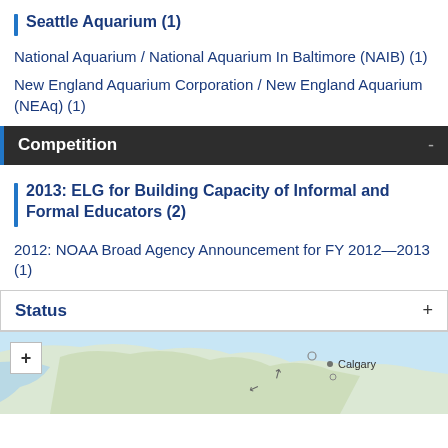Seattle Aquarium (1)
National Aquarium / National Aquarium In Baltimore (NAIB) (1)
New England Aquarium Corporation / New England Aquarium (NEAq) (1)
Competition
2013: ELG for Building Capacity of Informal and Formal Educators (2)
2012: NOAA Broad Agency Announcement for FY 2012—2013 (1)
Status
[Figure (map): Map showing North America with Calgary labeled, zoom plus button visible]